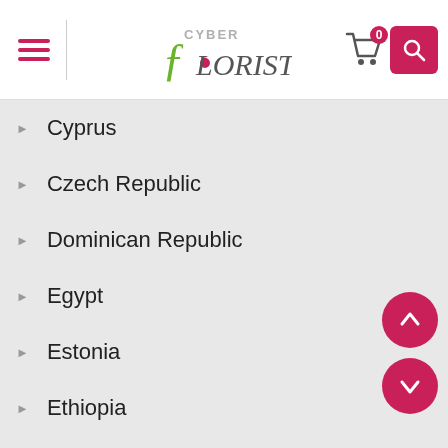[Figure (logo): Cyber Florist logo with shopping cart and search button in website header]
Cyprus
Czech Republic
Dominican Republic
Egypt
Estonia
Ethiopia
Fiji
Finland
France
Georgia
Germany
Greece
Hong Kong
India
Indonesia
Ireland